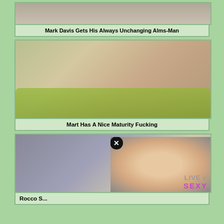[Figure (photo): Thumbnail image for adult video]
Mark Davis Gets His Always Unchanging Alms-Man
[Figure (photo): Adult video thumbnail showing couple on green couch]
Mart Has A Nice Maturity Fucking
[Figure (photo): Adult video thumbnail with woman and overlay popup ad with LIVE SEXY text]
Rocco S...